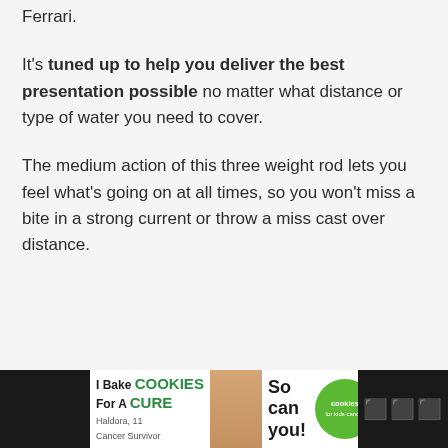Ferrari.
It's tuned up to help you deliver the best presentation possible no matter what distance or type of water you need to cover.
The medium action of this three weight rod lets you feel what's going on at all times, so you won't miss a bite in a strong current or throw a miss cast over distance.
W
[Figure (other): Advertisement banner at bottom of page: 'I Bake COOKIES For A CURE - Haldora, 11 Cancer Survivor - So can you! cookies for kids cancer' with green circle logo and close button]